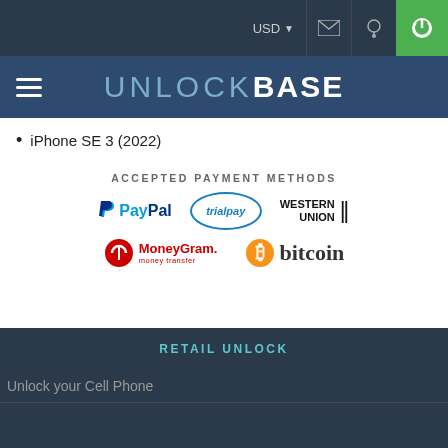UNLOCKBASE — USD navigation bar
iPhone SE 3 (2022)
ACCEPTED PAYMENT METHODS
[Figure (logo): Payment method logos: PayPal, trialpay, Western Union, MoneyGram, bitcoin]
[Figure (logo): Payment method logos: VISA, MasterCard, American Express, BANK, Bitcoin Cash, litecoin, ethereum, DASH]
RETAIL UNLOCK
Unlock your Cell Phone